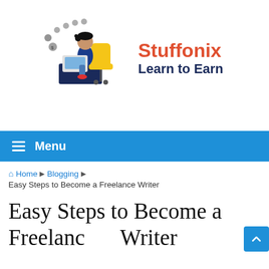[Figure (logo): Stuffonix brand logo with illustration of a person sitting at a desk with a laptop, coins floating around, alongside the text 'Stuffonix' in red and 'Learn to Earn' in dark navy.]
≡ Menu
🏠 Home ▶ Blogging ▶
Easy Steps to Become a Freelance Writer
Easy Steps to Become a Freelance Writer